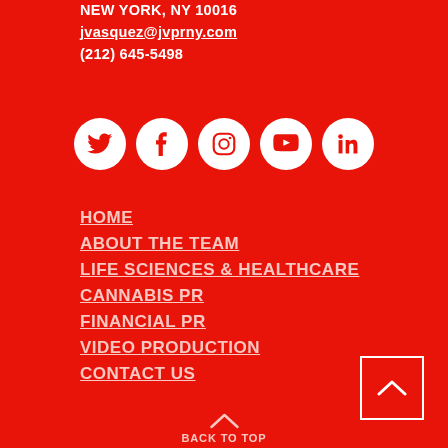NEW YORK, NY 10016
jvasquez@jvprny.com
(212) 645-5498
[Figure (infographic): Row of 5 white circular social media icons on red background: Twitter, Facebook, Instagram, YouTube, LinkedIn]
HOME
ABOUT THE TEAM
LIFE SCIENCES & HEALTHCARE
CANNABIS PR
FINANCIAL PR
VIDEO PRODUCTION
CONTACT US
BACK TO TOP